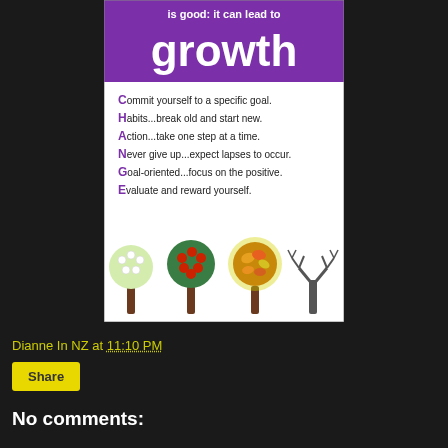[Figure (infographic): Motivational infographic with purple header 'is good: it can lead to growth' and CHANGE acronym: C-Commit yourself to a specific goal. H-Habits...break old and start new. A-Action...take one step at a time. N-Never give up...expect lapses to occur. G-Goal-oriented...focus on the positive. E-Evaluate and reward yourself. Four trees representing seasons at the bottom.]
Dianne In NZ at 11:10 PM
Share
No comments: